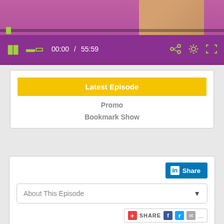[Figure (screenshot): Video player showing a TV show with purple/magenta background, woman visible at right, with playback controls showing pause button, volume icon, timestamp 00:00 / 55:59, share and settings icons in green/yellow on dark purple control bar]
Latest Episode
Promo
Bookmark Show
[Figure (screenshot): LinkedIn Share button (blue background with 'in' logo and 'Share' text)]
About This Episode
[Figure (screenshot): AddThis share bar with Facebook, Twitter, email and more icons]
Encore: Depression, Anxiety and Mental Health Issues Impact Relationships
December 14, 2017
Hosted by Karen Collins Aceti, LCSW and Dr.